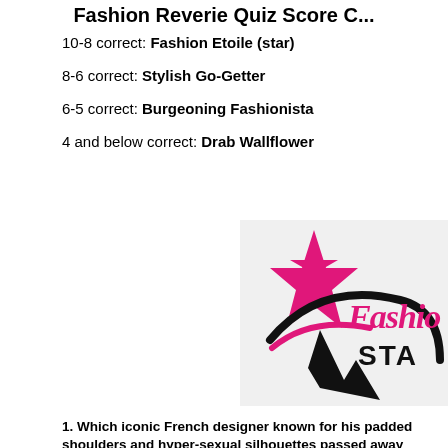Fashion Reverie Quiz Score C...
10-8 correct: Fashion Etoile (star)
8-6 correct: Stylish Go-Getter
6-5 correct: Burgeoning Fashionista
4 and below correct: Drab Wallflower
[Figure (logo): Fashion Star logo with a large pink star and swoosh design, with 'Fashion' in pink cursive script and 'STAR' in bold black text]
1. Which iconic French designer known for his padded shoulders and hyper-sexual silhouettes passed away earlier this year?
a) Michael Goma
b) Thierry Mugler